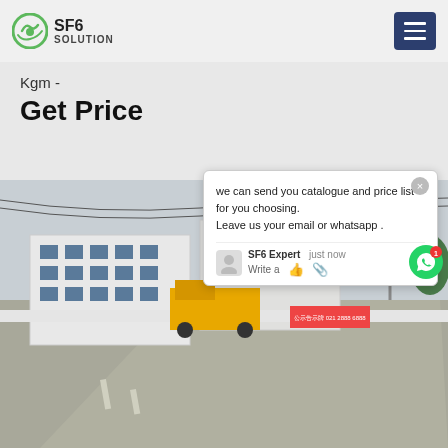SF6 SOLUTION
Kgm -
Get Price
[Figure (photo): Outdoor industrial facility with white buildings, a yellow construction truck, fencing, power transmission tower, and a road in the foreground]
we can send you catalogue and price list for you choosing. Leave us your email or whatsapp .
SF6 Expert   just now
Write a